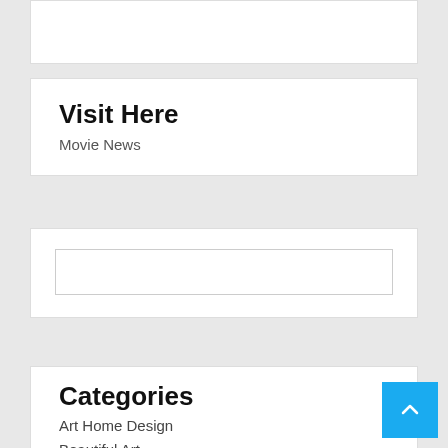Visit Here
Movie News
[Figure (other): Search input box]
Categories
Art Home Design
Beautiful Art
Landscape Design
Landscaping